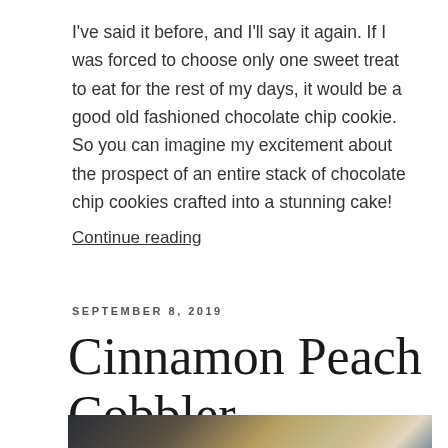I've said it before, and I'll say it again. If I was forced to choose only one sweet treat to eat for the rest of my days, it would be a good old fashioned chocolate chip cookie. So you can imagine my excitement about the prospect of an entire stack of chocolate chip cookies crafted into a stunning cake!
Continue reading
SEPTEMBER 8, 2019
Cinnamon Peach Cobbler
[Figure (photo): Partial photo of a cinnamon peach cobbler dish, cropped at the bottom of the page.]